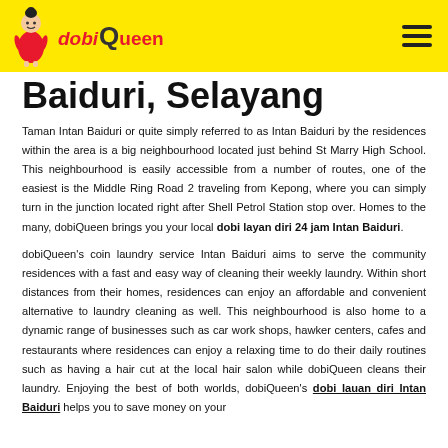dobiQueen [logo with hamburger menu]
Baiduri, Selayang
Taman Intan Baiduri or quite simply referred to as Intan Baiduri by the residences within the area is a big neighbourhood located just behind St Marry High School. This neighbourhood is easily accessible from a number of routes, one of the easiest is the Middle Ring Road 2 traveling from Kepong, where you can simply turn in the junction located right after Shell Petrol Station stop over. Homes to the many, dobiQueen brings you your local dobi layan diri 24 jam Intan Baiduri.
dobiQueen's coin laundry service Intan Baiduri aims to serve the community residences with a fast and easy way of cleaning their weekly laundry. Within short distances from their homes, residences can enjoy an affordable and convenient alternative to laundry cleaning as well. This neighbourhood is also home to a dynamic range of businesses such as car work shops, hawker centers, cafes and restaurants where residences can enjoy a relaxing time to do their daily routines such as having a hair cut at the local hair salon while dobiQueen cleans their laundry. Enjoying the best of both worlds, dobiQueen's dobi lauan diri Intan Baiduri helps you to save money on your